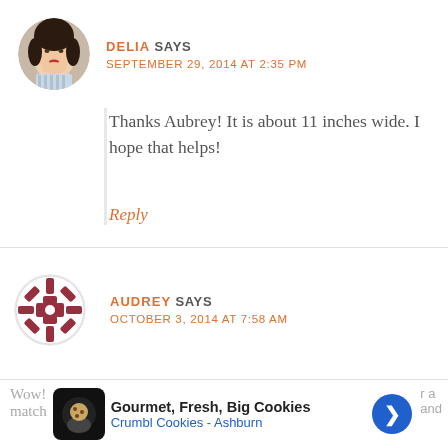DELIA SAYS
SEPTEMBER 29, 2014 AT 2:35 PM
Thanks Aubrey! It is about 11 inches wide. I hope that helps!
Reply
AUDREY SAYS
OCTOBER 3, 2014 AT 7:58 AM
Wow!    r a
match  and